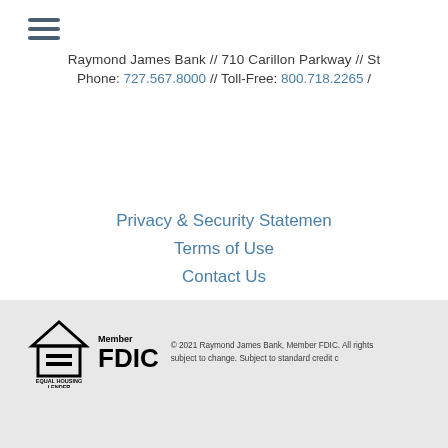[Figure (other): Hamburger menu icon (three horizontal lines)]
Raymond James Bank // 710 Carillon Parkway // St…
Phone: 727.567.8000 // Toll-Free: 800.718.2265 /
Privacy & Security Statement
Terms of Use
Contact Us
[Figure (logo): Equal Housing Lender logo and Member FDIC logo]
© 2021 Raymond James Bank, Member FDIC. All rights subject to change. Subject to standard credit c…